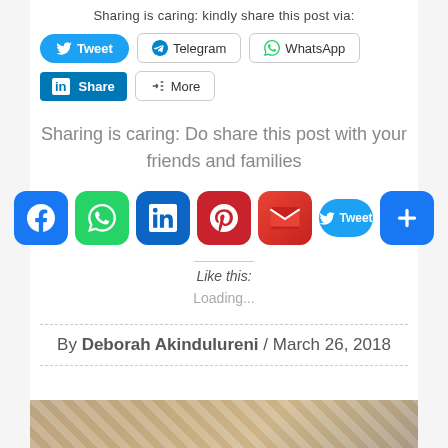Sharing is caring: kindly share this post via:
[Figure (other): Social share buttons row 1: Tweet (Twitter), Telegram, WhatsApp]
[Figure (other): Social share buttons row 2: LinkedIn Share, More]
Sharing is caring: Do share this post with your friends and families
[Figure (other): Social media icon buttons: Facebook, WhatsApp, LinkedIn, Pinterest, Gmail, Tweet, More (+)]
Like this:
Loading...
By Deborah Akindulureni / March 26, 2018
[Figure (photo): Partial newspaper/text image at the bottom of the page]